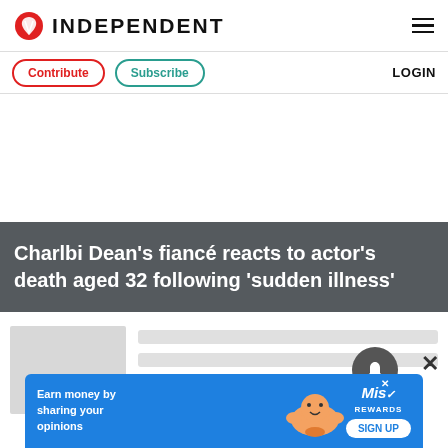INDEPENDENT
Contribute  Subscribe  LOGIN
Charlbi Dean's fiancé reacts to actor's death aged 32 following 'sudden illness'
[Figure (screenshot): Article metadata area with thumbnail placeholder and grey loading skeleton lines]
[Figure (screenshot): Advertisement banner: Earn money by sharing your opinions - MisRewards SIGN UP]